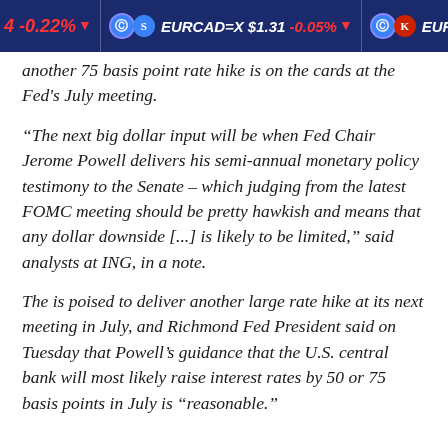4 -0.22% ▼   EURCAD=X $1.31 -0.05% ▼   EUR
another 75 basis point rate hike is on the cards at the Fed's July meeting.
“The next big dollar input will be when Fed Chair Jerome Powell delivers his semi-annual monetary policy testimony to the Senate – which judging from the latest FOMC meeting should be pretty hawkish and means that any dollar downside [...] is likely to be limited,” said analysts at ING, in a note.
The is poised to deliver another large rate hike at its next meeting in July, and Richmond Fed President said on Tuesday that Powell’s guidance that the U.S. central bank will most likely raise interest rates by 50 or 75 basis points in July is “reasonable.”